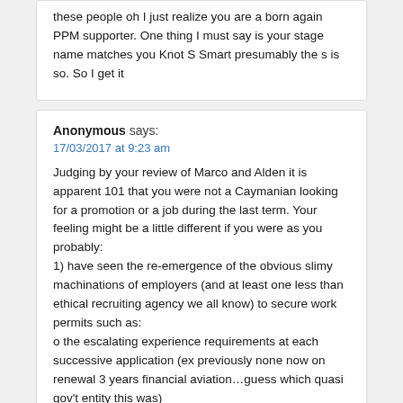these people oh I just realize you are a born again PPM supporter. One thing I must say is your stage name matches you Knot S Smart presumably the s is so. So I get it
Anonymous says:
17/03/2017 at 9:23 am

Judging by your review of Marco and Alden it is apparent 101 that you were not a Caymanian looking for a promotion or a job during the last term. Your feeling might be a little different if you were as you probably:
1) have seen the re-emergence of the obvious slimy machinations of employers (and at least one less than ethical recruiting agency we all know) to secure work permits such as:
o the escalating experience requirements at each successive application (ex previously none now on renewal 3 years financial aviation…guess which quasi gov't entity this was)
o the difficult and sometimes impossible to apply positions such as on our website where the position is not even listed
o no acknowledgement and or response..even with numerous follow-up
2) have had experience and education belittled and marginalized